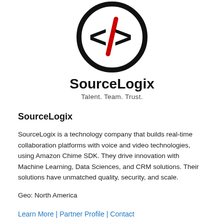[Figure (logo): SourceLogix logo: a circular icon with angle brackets and a red forward slash, black circle outline, above the company name 'SourceLogix' and tagline 'Talent. Team. Trust.']
SourceLogix
SourceLogix is a technology company that builds real-time collaboration platforms with voice and video technologies, using Amazon Chime SDK. They drive innovation with Machine Learning, Data Sciences, and CRM solutions. Their solutions have unmatched quality, security, and scale.
Geo: North America
Learn More | Partner Profile | Contact